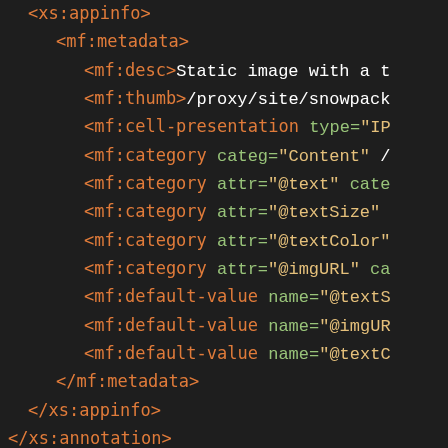[Figure (screenshot): Code editor screenshot showing XML/schema markup with syntax highlighting on a dark background. Orange tags, green attribute names, yellow attribute values. Lines include xs:appinfo, mf:metadata, mf:desc, mf:thumb, mf:cell-presentation, mf:category elements with various attributes, mf:default-value elements, closing tags for mf:metadata, xs:appinfo, xs:annotation, and xs:attribute elements.]